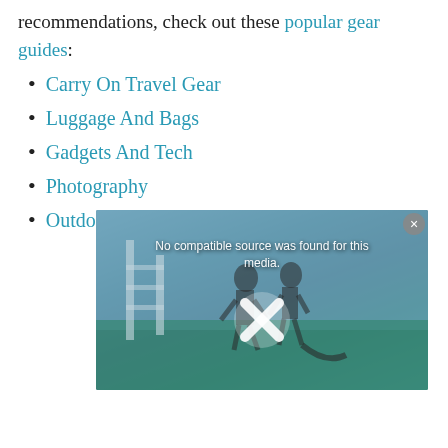recommendations, check out these popular gear guides:
Carry On Travel Gear
Luggage And Bags
Gadgets And Tech
Photography
Outdoor Gear
[Figure (screenshot): Video player screenshot showing two people jumping from a boat with scuba gear, overlaid with 'No compatible source was found for this media.' error message and a white X icon. A close button is in the top right corner.]